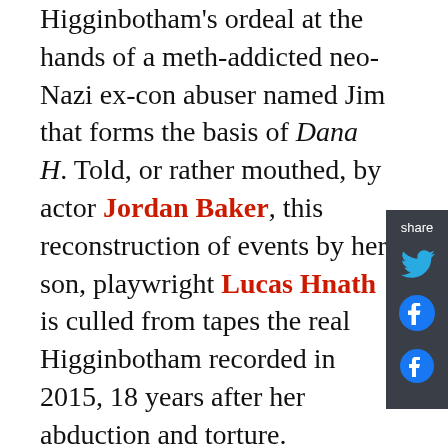Higginbotham's ordeal at the hands of a meth-addicted neo-Nazi ex-con abuser named Jim that forms the basis of Dana H. Told, or rather mouthed, by actor Jordan Baker, this reconstruction of events by her son, playwright Lucas Hnath is culled from tapes the real Higginbotham recorded in 2015, 18 years after her abduction and torture.
Baker is remarkable in this unique type of role. Seamlessly lip synching to the recorded dialogue, she uses her eyes, facial and body gestures to dig deep into the character, never saying a word. After a few minutes you forget the allusion and believe she's speaking. This technique is not new, having been mastered